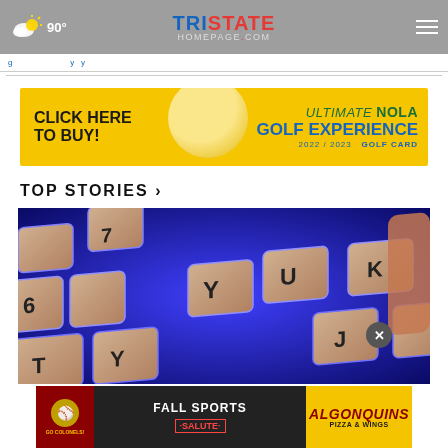Tristate Homepage.com — 90°
[Figure (screenshot): Navigation breadcrumb bar with blue link text]
[Figure (illustration): Advertisement banner: CLICK HERE TO BUY! Ultimate NOLA Golf Experience 2022/2023 GOLF CARD, yellow background with golf ball graphic]
TOP STORIES ›
[Figure (photo): Close-up photo of a keyboard with blue LED backlighting showing keys including Y, U, K, J, 6, 7, T]
[Figure (illustration): Advertisement overlay: FALL SPORTS SALUTE - Go Colonels! - Algonquins Pizza & Wings, dark background with red and gold branding]